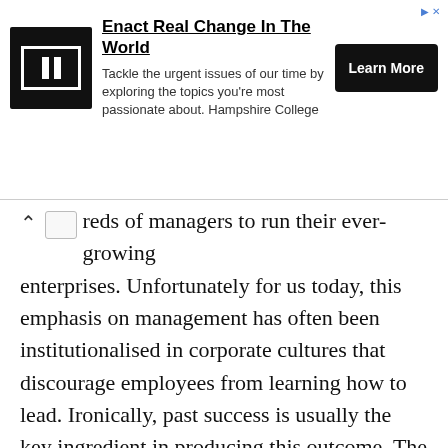[Figure (other): Advertisement banner for Hampshire College: 'Enact Real Change In The World' with logo, body text, and Learn More button]
reds of managers to run their ever-growing enterprises. Unfortunately for us today, this emphasis on management has often been institutionalised in corporate cultures that discourage employees from learning how to lead. Ironically, past success is usually the key ingredient in producing this outcome. The syndrome, as I have observed it on many occasions, goes like this: success creates some degree of marked dominance which in turn produces much growth. After a while keeping the ever-larger organisation under control becomes the primary challenge. So attention turns inward and managerial competencies are